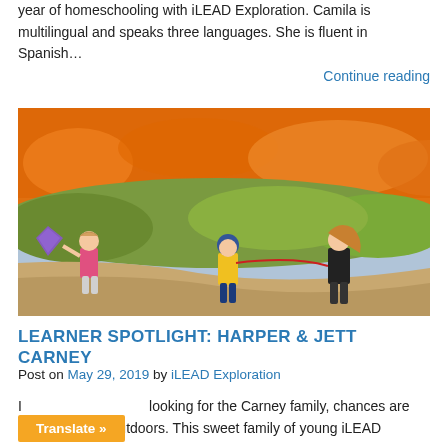year of homeschooling with iLEAD Exploration. Camila is multilingual and speaks three languages. She is fluent in Spanish…
Continue reading
[Figure (photo): Three children walking along a dirt trail surrounded by orange poppies and green shrubs. One child carries a purple kite, another wears a yellow shirt and helmet, and a third walks behind.]
LEARNER SPOTLIGHT: HARPER & JETT CARNEY
Post on May 29, 2019 by iLEAD Exploration
If you're looking for the Carney family, chances are you'll find them outdoors. This sweet family of young iLEAD
Translate »